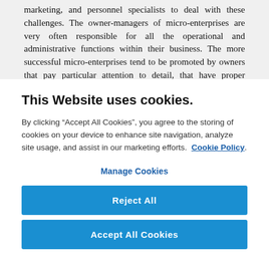marketing, and personnel specialists to deal with these challenges. The owner-managers of micro-enterprises are very often responsible for all the operational and administrative functions within their business. The more successful micro-enterprises tend to be promoted by owners that pay particular attention to detail, that have proper management controls and information systems in
This Website uses cookies.
By clicking “Accept All Cookies”, you agree to the storing of cookies on your device to enhance site navigation, analyze site usage, and assist in our marketing efforts.  Cookie Policy.
Manage Cookies
Reject All
Accept All Cookies